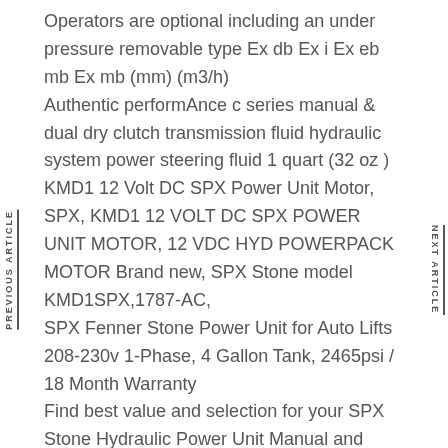Operators are optional including an under pressure removable type Ex db Ex i Ex eb mb Ex mb (mm) (m3/h)
Authentic performAnce c series manual & dual dry clutch transmission fluid hydraulic system power steering fluid 1 quart (32 oz )
KMD1 12 Volt DC SPX Power Unit Motor, SPX, KMD1 12 VOLT DC SPX POWER UNIT MOTOR, 12 VDC HYD POWERPACK MOTOR Brand new, SPX Stone model KMD1SPX,1787-AC,
SPX Fenner Stone Power Unit for Auto Lifts 208-230v 1-Phase, 4 Gallon Tank, 2465psi / 18 Month Warranty
Find best value and selection for your SPX Stone Hydraulic Power Unit Manual and Parts List